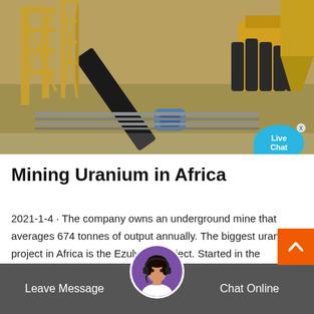[Figure (photo): Aerial view of large yellow mining equipment and conveyor belt at an industrial mine site]
Mining Uranium in Africa
2021-1-4 · The company owns an underground mine that averages 674 tonnes of output annually. The biggest uranium project in Africa is the Ezulweni Project. Started in the beginning of 2007, Ezolweni is run from a mine in Randfontein in …
Leave Message   Chat Online